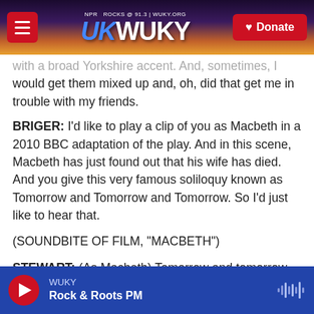[Figure (screenshot): WUKY radio website header with logo, menu button, sunset landscape background, and red Donate button]
with a broad Yorkshire accent. And, sometimes, I would get them mixed up and, oh, did that get me in trouble with my friends.
BRIGER: I'd like to play a clip of you as Macbeth in a 2010 BBC adaptation of the play. And in this scene, Macbeth has just found out that his wife has died. And you give this very famous soliloquy known as Tomorrow and Tomorrow and Tomorrow. So I'd just like to hear that.
(SOUNDBITE OF FILM, "MACBETH")
STEWART: (As Macbeth) Tomorrow and tomorrow
[Figure (screenshot): WUKY radio audio player footer bar with play button, station name WUKY, show name Rock & Roots PM, and waveform icon]